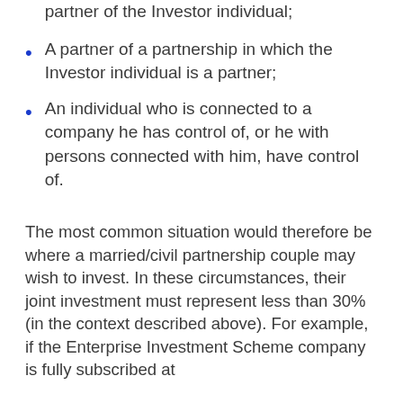partner of the Investor individual;
A partner of a partnership in which the Investor individual is a partner;
An individual who is connected to a company he has control of, or he with persons connected with him, have control of.
The most common situation would therefore be where a married/civil partnership couple may wish to invest. In these circumstances, their joint investment must represent less than 30% (in the context described above). For example, if the Enterprise Investment Scheme company is fully subscribed at